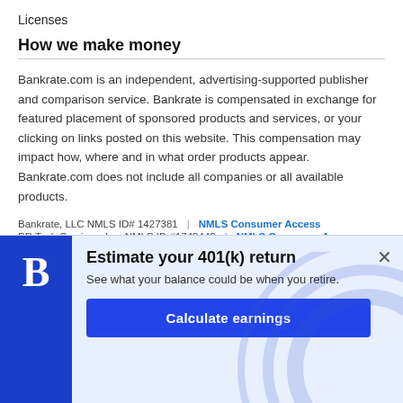Licenses
How we make money
Bankrate.com is an independent, advertising-supported publisher and comparison service. Bankrate is compensated in exchange for featured placement of sponsored products and services, or your clicking on links posted on this website. This compensation may impact how, where and in what order products appear. Bankrate.com does not include all companies or all available products.
Bankrate, LLC NMLS ID# 1427381 | NMLS Consumer Access
BR Tech Services, Inc. NMLS ID #1743443 | NMLS Consumer Access
[Figure (infographic): Promotional banner with blue Bankrate logo block on the left, title 'Estimate your 401(k) return', subtitle 'See what your balance could be when you retire.', and a 'Calculate earnings' button. Close (x) button in top right.]